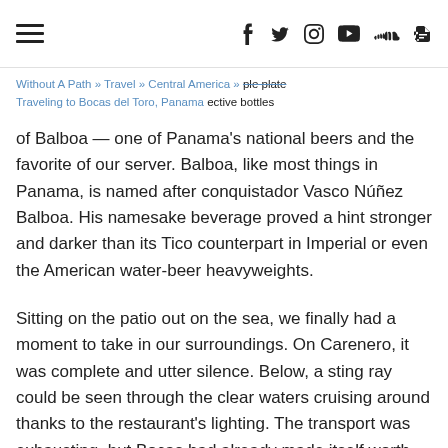≡  f  𝕏  📷  ▶  ☁  RSS
Without A Path » Travel » Central America »
Traveling to Bocas del Toro, Panama
stereotypical American appetites for a simple plate of Chichén Cholla to go with our respective bottles of Balboa — one of Panama's national beers and the favorite of our server. Balboa, like most things in Panama, is named after conquistador Vasco Núñez Balboa. His namesake beverage proved a hint stronger and darker than its Tico counterpart in Imperial or even the American water-beer heavyweights.
Sitting on the patio out on the sea, we finally had a moment to take in our surroundings. On Carenero, it was complete and utter silence. Below, a sting ray could be seen through the clear waters cruising around thanks to the restaurant's lighting. The transport was exhausting, but Bocas had already made itself worth the trouble.